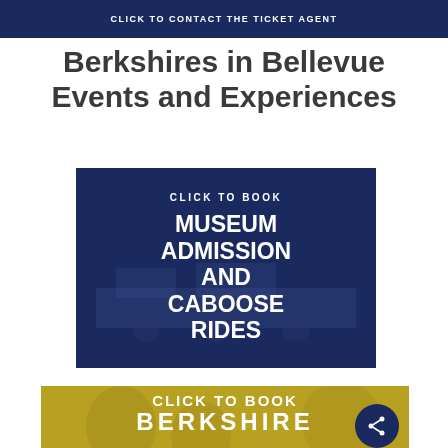CLICK TO CONTACT THE TICKET AGENT
Berkshires in Bellevue Events and Experiences
[Figure (illustration): Dark navy blue button/card with overlay text 'CLICK TO BOOK' and 'MUSEUM ADMISSION AND CABOOSE RIDES' in large white bold uppercase letters, with a faint train background image]
[Figure (illustration): Golden/olive toned card with people in background, overlay text 'CLICK TO BOOK' and 'BERKSHIRE' in large white bold uppercase letters, with a circular share button overlaid in navy blue]